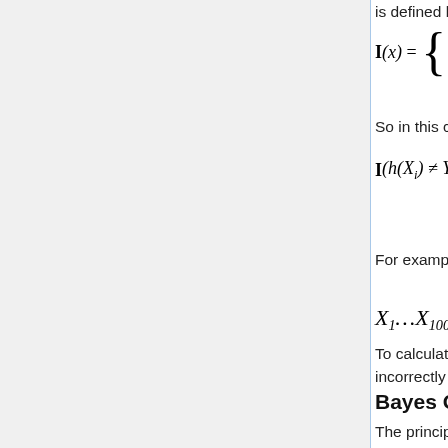is defined by
So in this case,
For example, suppose we have 100 new data points with known (true) labels
To calculate the empirical error, we count how many times our function h(X) classifies incorrectly (does not match y) and divide by n=100.
Bayes Classifier
The principle of the Bayes Classifier is to calculate the posterior probability of a given object from its prior probability via